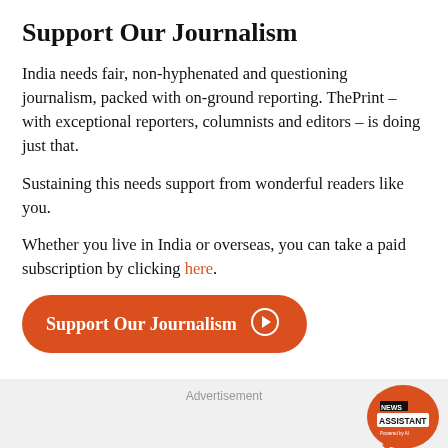Support Our Journalism
India needs fair, non-hyphenated and questioning journalism, packed with on-ground reporting. ThePrint – with exceptional reporters, columnists and editors – is doing just that.
Sustaining this needs support from wonderful readers like you.
Whether you live in India or overseas, you can take a paid subscription by clicking here.
[Figure (other): Orange rounded button labeled 'Support Our Journalism' with a circled arrow icon]
Advertisement
[Figure (other): News Assistant orange bubble logo with text 'NEWS ASSISTANT' on the right side]
Advertisement
[Figure (other): CVS Pharmacy advertisement: 'Get Back To Routine With CVS® CVS' with CVS logo and navigation arrow icon]